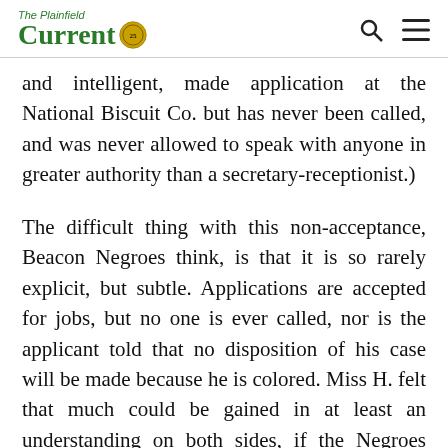The Current [logo]
and intelligent, made application at the National Biscuit Co. but has never been called, and was never allowed to speak with anyone in greater authority than a secretary-receptionist.)
The difficult thing with this non-acceptance, Beacon Negroes think, is that it is so rarely explicit, but subtle. Applications are accepted for jobs, but no one is ever called, nor is the applicant told that no disposition of his case will be made because he is colored. Miss H. felt that much could be gained in at least an understanding on both sides, if the Negroes could sometimes gain an audience with a personnel manager, instead of a receptionist, who, she felt, will